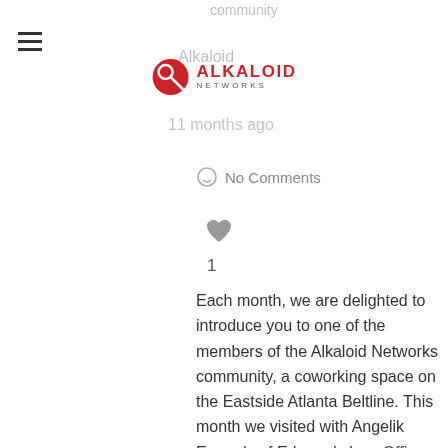Alkaloid Networks
No Comments
1
Each month, we are delighted to introduce you to one of the members of the Alkaloid Networks community, a coworking space on the Eastside Atlanta Beltline. This month we visited with Angelik Emonds of Edmonds Law Office of Civil Rights. What are you working on right now? Right now, Edmonds